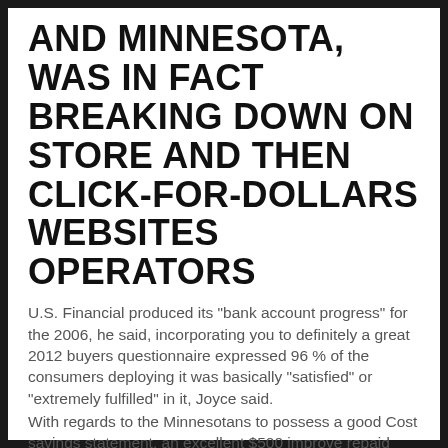AND MINNESOTA, WAS IN FACT BREAKING DOWN ON STORE AND THEN CLICK-FOR-DOLLARS WEBSITES OPERATORS
U.S. Financial produced its "bank account progress" for the 2006, he said, incorporating you to definitely a great 2012 buyers questionnaire expressed 96 % of the consumers deploying it was basically "satisfied" or "extremely fulfilled" in it, Joyce said.
With regards to the Minnesotans to possess a good Cost savings statement, an excellent $500 improve repaid throughout the regular 10-time label will set you back